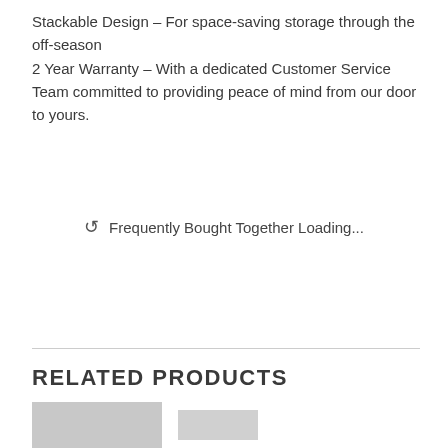Stackable Design – For space-saving storage through the off-season
2 Year Warranty – With a dedicated Customer Service Team committed to providing peace of mind from our door to yours.
↺  Frequently Bought Together Loading...
RELATED PRODUCTS
[Figure (other): Partial product images at bottom of page, cut off]